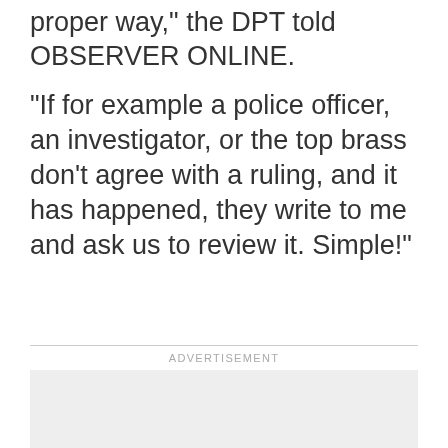proper way,” the DPT told OBSERVER ONLINE.
“If for example a police officer, an investigator, or the top brass don't agree with a ruling, and it has happened, they write to me and ask us to review it. Simple!”
ADVERTISEMENT